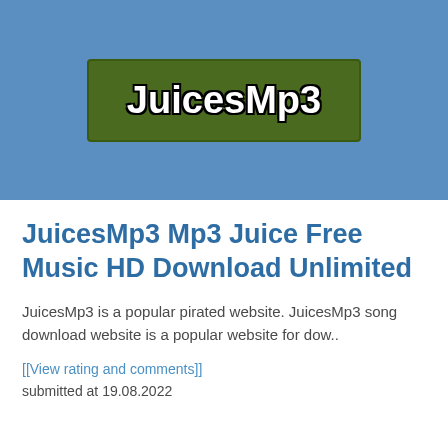[Figure (logo): JuicesMp3 logo — white bold text on dark green rectangle background, set against a steel blue banner background]
JuicesMp3 Mp3 Juice Free Music HD Download Unlimited
JuicesMp3 is a popular pirated website. JuicesMp3 song download website is a popular website for dow..
[[View rating and comments]]
submitted at 19.08.2022